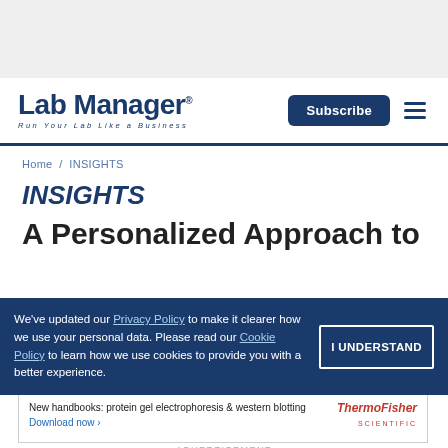[Figure (other): Top gray banner area (advertisement/header placeholder)]
Lab Manager — Run Your Lab Like a Business | Subscribe button | Hamburger menu
Home / INSIGHTS
INSIGHTS
A Personalized Approach to
We've updated our Privacy Policy to make it clearer how we use your personal data. Please read our Cookie Policy to learn how we use cookies to provide you with a better experience. | I UNDERSTAND
[Figure (other): Thermo Fisher Scientific advertisement: New handbooks: protein gel electrophoresis & western blotting. Download now.]
ADVERTISEMENT